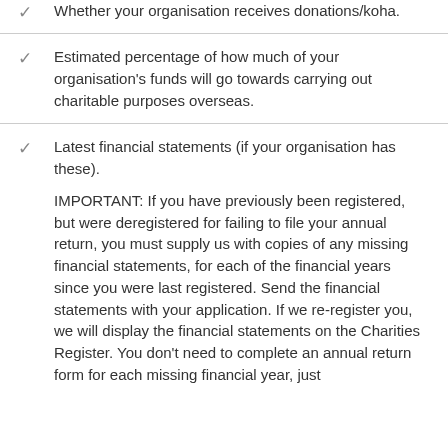Whether your organisation receives donations/koha.
Estimated percentage of how much of your organisation's funds will go towards carrying out charitable purposes overseas.
Latest financial statements (if your organisation has these).

IMPORTANT: If you have previously been registered, but were deregistered for failing to file your annual return, you must supply us with copies of any missing financial statements, for each of the financial years since you were last registered. Send the financial statements with your application. If we re-register you, we will display the financial statements on the Charities Register. You don't need to complete an annual return form for each missing financial year, just